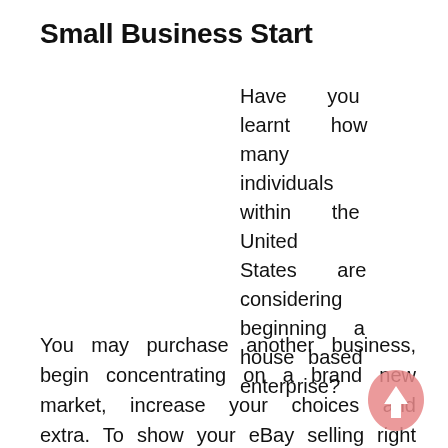Small Business Start
Have you learnt how many individuals within the United States are considering beginning a house based enterprise?
[Figure (other): Pink teardrop-shaped up-arrow button/icon]
You may purchase another business, begin concentrating on a brand new market, increase your choices and extra. To show your eBay selling right into a respectable enterprise thought, search for opportunities where you should buy in-demand products at a discount—and later